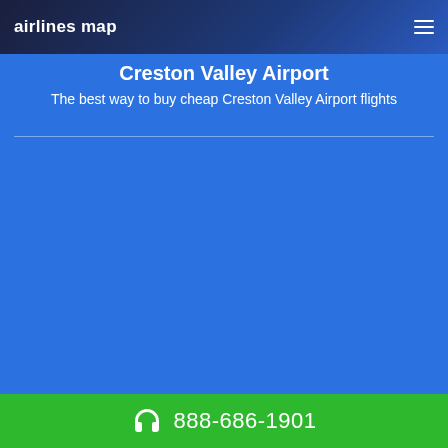airlines map
Creston Valley Airport
The best way to buy cheap Creston Valley Airport flights
888-686-1901